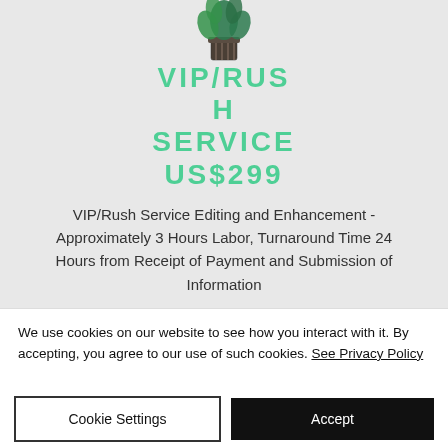[Figure (illustration): Tropical plant in a striped pot, partially visible at top of gray section]
VIP/RUSH SERVICE US$299
VIP/Rush Service Editing and Enhancement - Approximately 3 Hours Labor, Turnaround Time 24 Hours from Receipt of Payment and Submission of Information
We use cookies on our website to see how you interact with it. By accepting, you agree to our use of such cookies. See Privacy Policy
Cookie Settings
Accept